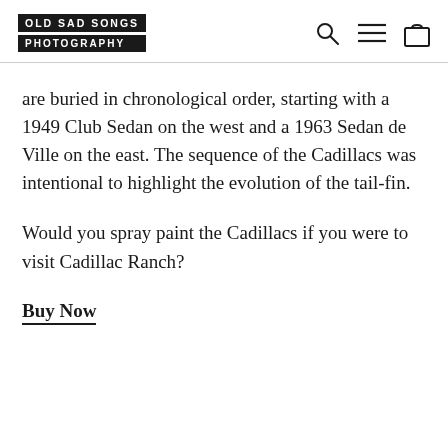OLD SAD SONGS PHOTOGRAPHY
are buried in chronological order, starting with a 1949 Club Sedan on the west and a 1963 Sedan de Ville on the east. The sequence of the Cadillacs was intentional to highlight the evolution of the tail-fin.
Would you spray paint the Cadillacs if you were to visit Cadillac Ranch?
Buy Now